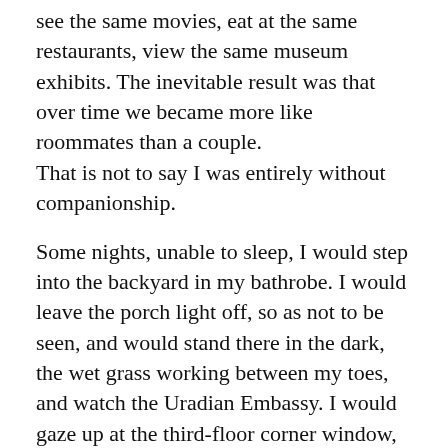see the same movies, eat at the same restaurants, view the same museum exhibits. The inevitable result was that over time we became more like roommates than a couple. That is not to say I was entirely without companionship.
Some nights, unable to sleep, I would step into the backyard in my bathrobe. I would leave the porch light off, so as not to be seen, and would stand there in the dark, the wet grass working between my toes, and watch the Uradian Embassy. I would gaze up at the third-floor corner window, where the light was always on, and I would watch the ambassador sitting at his desk, his tie pulled askew. I could never really make out his face, just the figure of him there, and he always sat as still as a man could possibly sit, and I